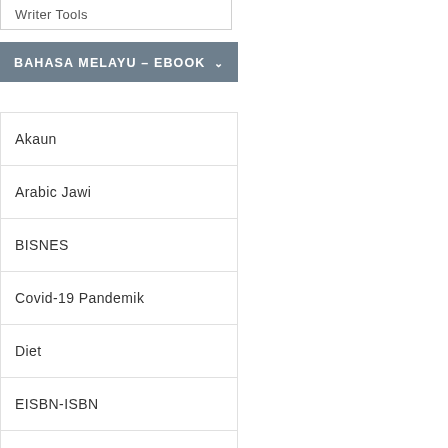Writer Tools
BAHASA MELAYU – EBOOK
Akaun
Arabic Jawi
BISNES
Covid-19 Pandemik
Diet
EISBN-ISBN
Haji Dan Umrah